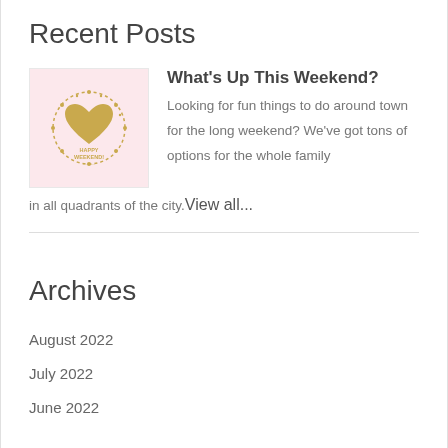Recent Posts
[Figure (illustration): Pink square thumbnail with a gold circular wreath, gold heart in the center, and text 'HAPPY WEEKEND!' in gold lettering]
What's Up This Weekend?
Looking for fun things to do around town for the long weekend? We've got tons of options for the whole family in all quadrants of the city. View all...
Archives
August 2022
July 2022
June 2022